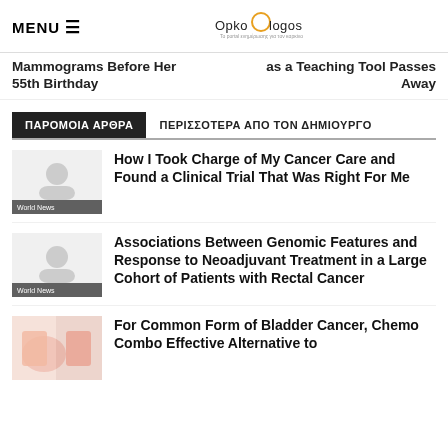MENU  [logo: Opko Logos]
Mammograms Before Her 55th Birthday
as a Teaching Tool Passes Away
ΠΑΡΟΜΟΙΑ ΑΡΘΡΑ
ΠΕΡΙΣΣΟΤΕΡΑ ΑΠΟ ΤΟΝ ΔΗΜΙΟΥΡΓΟ
How I Took Charge of My Cancer Care and Found a Clinical Trial That Was Right For Me
World News
Associations Between Genomic Features and Response to Neoadjuvant Treatment in a Large Cohort of Patients with Rectal Cancer
World News
For Common Form of Bladder Cancer, Chemo Combo Effective Alternative to